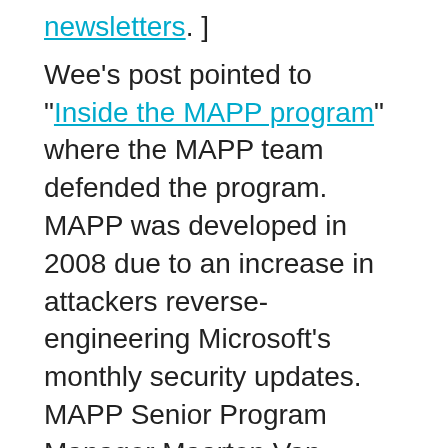newsletters. ]
Wee's post pointed to "Inside the MAPP program" where the MAPP team defended the program. MAPP was developed in 2008 due to an increase in attackers reverse-engineering Microsoft's monthly security updates. MAPP Senior Program Manager Maarten Van Horenbeeck wrote:
[Figure (screenshot): Black video overlay panel with title 'New hybrid work features are...' and a play button (pentagon/arrow shape) in the center, with an X close button in the top right.]